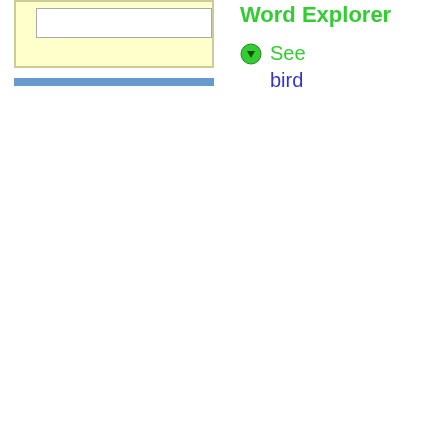[Figure (screenshot): Yellow search/input box with white inner text field and a blue horizontal bar below it, part of a word explorer UI]
Word Explorer
See
bird